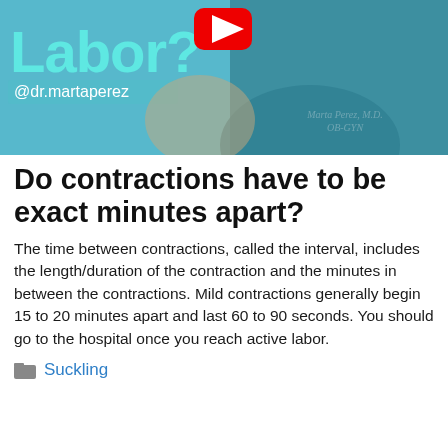[Figure (photo): YouTube video thumbnail showing Dr. Marta Perez (OB-GYN) in teal scrubs, with text 'Labor?' in teal and a YouTube play button icon, and handle @dr.martaperez]
Do contractions have to be exact minutes apart?
The time between contractions, called the interval, includes the length/duration of the contraction and the minutes in between the contractions. Mild contractions generally begin 15 to 20 minutes apart and last 60 to 90 seconds. You should go to the hospital once you reach active labor.
Suckling